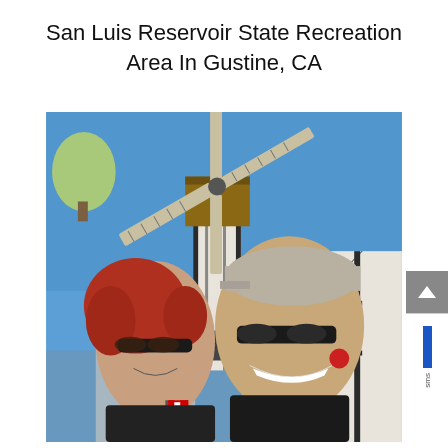San Luis Reservoir State Recreation Area In Gustine, CA
[Figure (photo): Two people taking a selfie in front of a large Dutch-style windmill against a clear blue sky. A woman with curly red hair wearing sunglasses is on the left, and a man wearing a baseball cap and sunglasses is on the right. A white Tudor-style building is visible in the background. A Canadian flag is visible in the lower left area.]